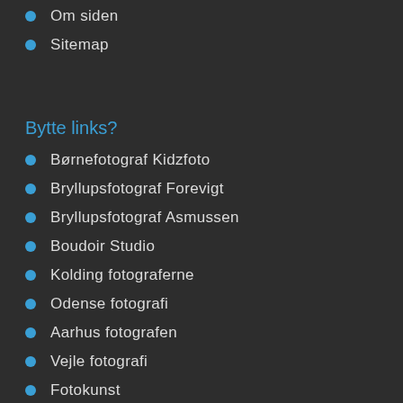Om siden
Sitemap
Bytte links?
Børnefotograf Kidzfoto
Bryllupsfotograf Forevigt
Bryllupsfotograf Asmussen
Boudoir Studio
Kolding fotograferne
Odense fotografi
Aarhus fotografen
Vejle fotografi
Fotokunst
Silkeborg fotografen